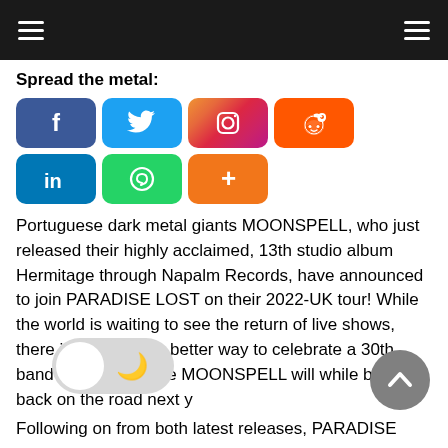Navigation header with hamburger menus
Spread the metal:
[Figure (infographic): Social media share buttons: Facebook, Twitter, Instagram, Reddit, LinkedIn, WhatsApp, More (+)]
Portuguese dark metal giants MOONSPELL, who just released their highly acclaimed, 13th studio album Hermitage through Napalm Records, have announced to join PARADISE LOST on their 2022-UK tour! While the world is waiting to see the return of live shows, there is probably no better way to celebrate a 30th band anniversary like MOONSPELL will while being back on the road next y
Following on from both latest releases, PARADISE